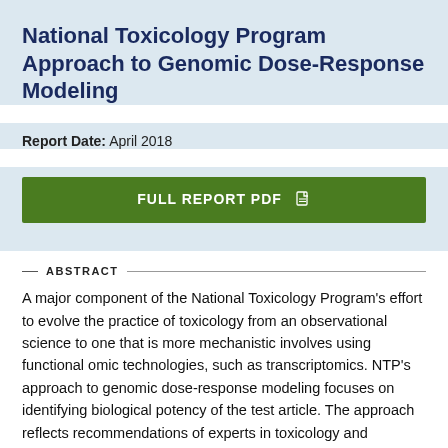National Toxicology Program Approach to Genomic Dose-Response Modeling
Report Date: April 2018
[Figure (other): Green button labeled FULL REPORT PDF with a PDF file icon]
ABSTRACT
A major component of the National Toxicology Program's effort to evolve the practice of toxicology from an observational science to one that is more mechanistic involves using functional omic technologies, such as transcriptomics. NTP's approach to genomic dose-response modeling focuses on identifying biological potency of the test article. The approach reflects recommendations of experts in toxicology and toxicogenomics. The steps in the process include 1) developing